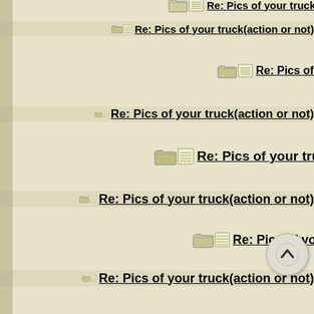Re: Pics of your truck(action or not)
Re: Pics of your truck(action or not)
Re: Pics of your truck(action or not)
Re: Pics of your truck(action or not)
Re: Pics of your truck(action or not)
Re: Pics of your truck(action or not)
Re: Pics of your truck(action or not)
Re: Pics of your truck(action or not)
Re: Pics of your truck(action or not)
Re: Pics of your truck(action or not)
Re: Pics of your truck(action or not)
Re: Pics of your truck(action or not)
Re: Pics of your truck(action or not)
Re: Pics of your truck(action or not)
Re: Pics of your truck(action or not)
Re: Pics of your truck(action or not)
Re: Pics of your truck(action or not)